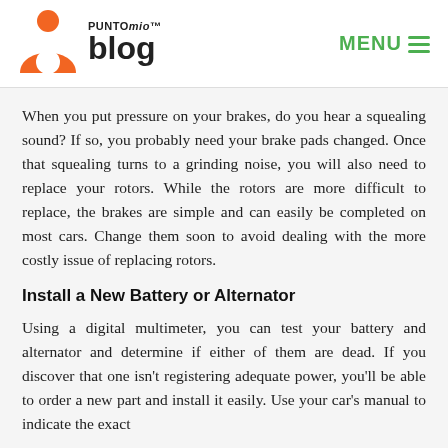PUNTOMIO™ blog | MENU
When you put pressure on your brakes, do you hear a squealing sound? If so, you probably need your brake pads changed. Once that squealing turns to a grinding noise, you will also need to replace your rotors. While the rotors are more difficult to replace, the brakes are simple and can easily be completed on most cars. Change them soon to avoid dealing with the more costly issue of replacing rotors.
Install a New Battery or Alternator
Using a digital multimeter, you can test your battery and alternator and determine if either of them are dead. If you discover that one isn't registering adequate power, you'll be able to order a new part and install it easily. Use your car's manual to indicate the exact